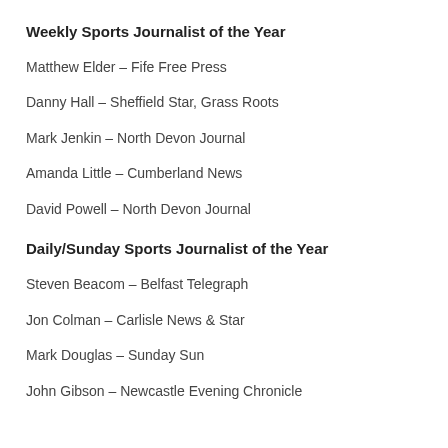Weekly Sports Journalist of the Year
Matthew Elder – Fife Free Press
Danny Hall – Sheffield Star, Grass Roots
Mark Jenkin – North Devon Journal
Amanda Little – Cumberland News
David Powell – North Devon Journal
Daily/Sunday Sports Journalist of the Year
Steven Beacom – Belfast Telegraph
Jon Colman – Carlisle News & Star
Mark Douglas – Sunday Sun
John Gibson – Newcastle Evening Chronicle